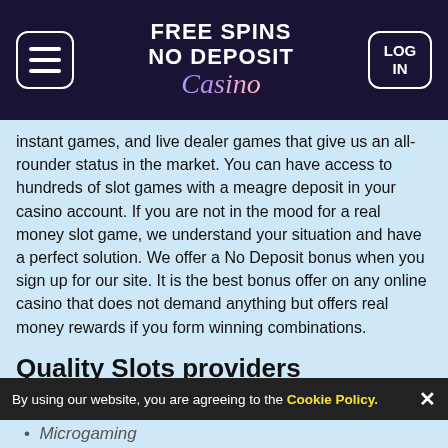FREE SPINS NO DEPOSIT Casino | LOG IN
instant games, and live dealer games that give us an all-rounder status in the market. You can have access to hundreds of slot games with a meagre deposit in your casino account. If you are not in the mood for a real money slot game, we understand your situation and have a perfect solution. We offer a No Deposit bonus when you sign up for our site. It is the best bonus offer on any online casino that does not demand anything but offers real money rewards if you form winning combinations.
Quality Slots providers
Every reputable online casino aims to feature quality products from prominent gaming developers in the market. As a licensed and reputed brand in the gambling market, we boast quality titles from the leading developers such as:
By using our website, you are agreeing to the Cookie Policy. ×
Microgaming